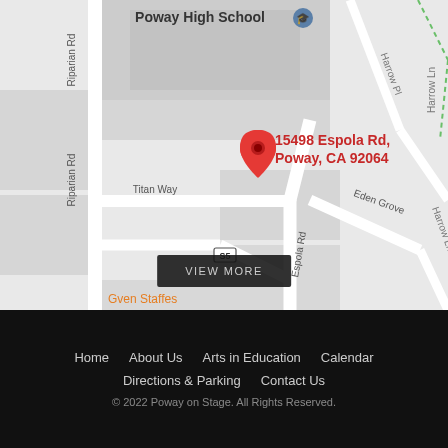[Figure (map): Google Maps screenshot showing Poway High School area with a red location pin at 15498 Espola Rd, Poway, CA 92064. Streets visible include Riparian Rd, Titan Way, Eden Grove, Espola Rd, Harrow Ln, Harrow Pl. A route marker S5 is visible. A 'VIEW MORE' button overlays the bottom of the map. Partially visible text 'Gven Staffe...' in orange at lower left.]
Home   About Us   Arts in Education   Calendar   Directions & Parking   Contact Us   © 2022 Poway on Stage. All Rights Reserved.